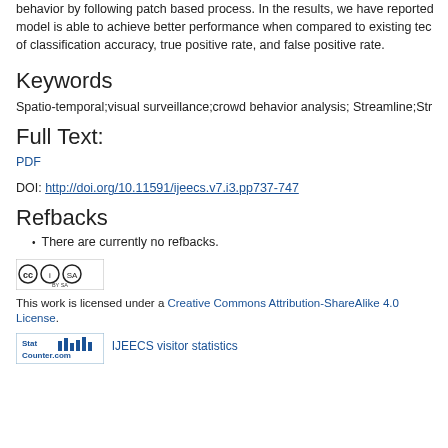behavior by following patch based process. In the results, we have reported model is able to achieve better performance when compared to existing techniques of classification accuracy, true positive rate, and false positive rate.
Keywords
Spatio-temporal;visual surveillance;crowd behavior analysis; Streamline;Stre...
Full Text:
PDF
DOI: http://doi.org/10.11591/ijeecs.v7.i3.pp737-747
Refbacks
There are currently no refbacks.
[Figure (logo): Creative Commons Attribution-ShareAlike license badge (CC BY SA)]
This work is licensed under a Creative Commons Attribution-ShareAlike 4.0 License.
[Figure (logo): StatCounter visitor statistics badge]
IJEECS visitor statistics